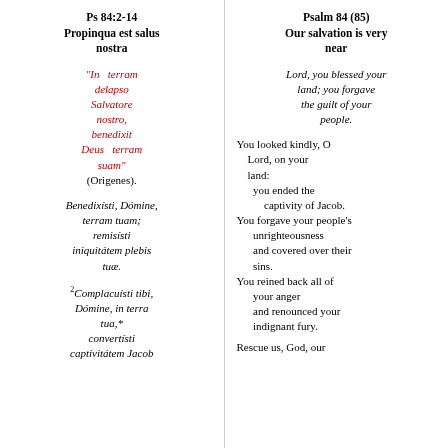Ps 84:2-14
Propinqua est salus nostra
Psalm 84 (85)
Our salvation is very near
“In terram delapso Salvatore nostro, benedixit Deus terram suam” (Origenes).
Lord, you blessed your land; you forgave the guilt of your people.
Benedixísti, Dómine, terram tuam; remisísti iniquitátem plebis tuæ.
You looked kindly, O Lord, on your land: you ended the captivity of Jacob. You forgave your people’s unrighteousness and covered over their sins. You reined back all of your anger and renounced your indignant fury.
²Complacuísti tibi, Dómine, in terra tua,* convertísti captivitátem Jacob
Rescue us, God, our